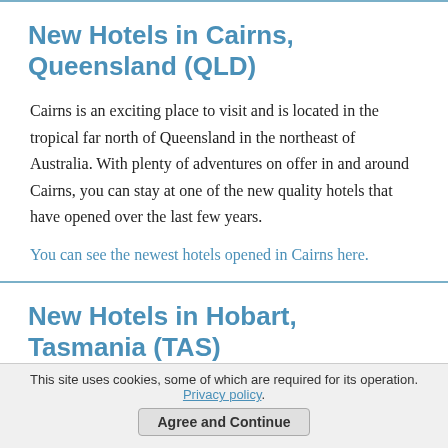New Hotels in Cairns, Queensland (QLD)
Cairns is an exciting place to visit and is located in the tropical far north of Queensland in the northeast of Australia. With plenty of adventures on offer in and around Cairns, you can stay at one of the new quality hotels that have opened over the last few years.
You can see the newest hotels opened in Cairns here.
New Hotels in Hobart, Tasmania (TAS)
The most populated city in the island state of Tasmania, Hobart is a great place to visit and a good base to explore the stunning natural scenery and history is this, one of the oldest Australian state capitals.
This site uses cookies, some of which are required for its operation. Privacy policy.